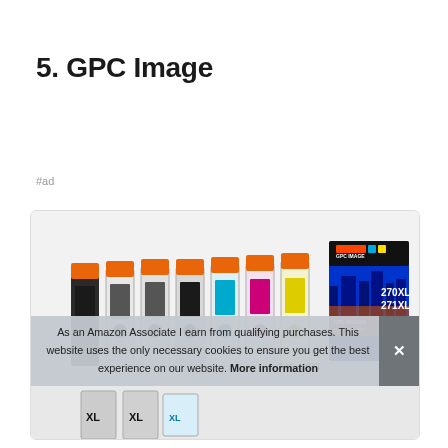5. GPC Image
#ad
[Figure (photo): GPC Image ink cartridge pack product photo showing multiple cartridges (black, cyan, magenta, yellow) with orange tabs, alongside a box labeled GPC IMAGE INK CARTRIDGE, Replacement for 270XL 271XL, 12 PCS]
As an Amazon Associate I earn from qualifying purchases. This website uses the only necessary cookies to ensure you get the best experience on our website. More information